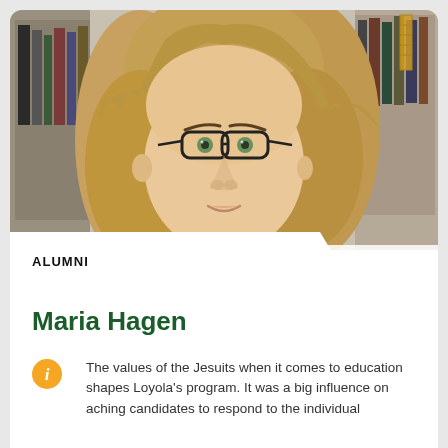[Figure (photo): Headshot of a young woman with long wavy blonde-brown hair and black-rimmed glasses, smiling, seated in front of a bookshelf with books]
ALUMNI
Maria Hagen
The values of the Jesuits when it comes to education shapes Loyola's program. It was a big influence on aching candidates to respond to the individual